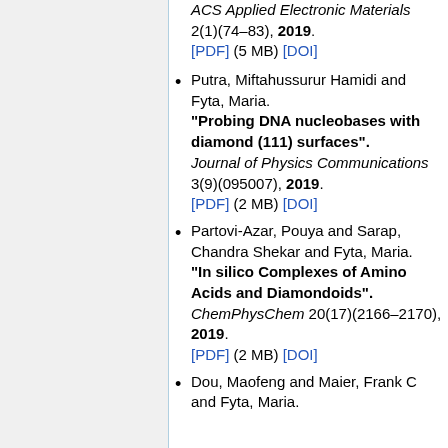ACS Applied Electronic Materials 2(1)(74–83), 2019. [PDF] (5 MB) [DOI]
Putra, Miftahussurur Hamidi and Fyta, Maria. "Probing DNA nucleobases with diamond (111) surfaces". Journal of Physics Communications 3(9)(095007), 2019. [PDF] (2 MB) [DOI]
Partovi-Azar, Pouya and Sarap, Chandra Shekar and Fyta, Maria. "In silico Complexes of Amino Acids and Diamondoids". ChemPhysChem 20(17)(2166–2170), 2019. [PDF] (2 MB) [DOI]
Dou, Maofeng and Maier, Frank C and Fyta, Maria.